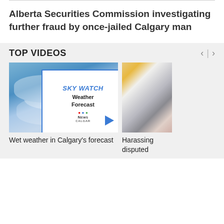Alberta Securities Commission investigating further fraud by once-jailed Calgary man
TOP VIDEOS
[Figure (screenshot): Video thumbnail showing sky with clouds and a SKY WATCH Weather Forecast overlay card with CTV News Calgary logo and a blue play button]
Wet weather in Calgary's forecast
[Figure (photo): Partial photo of a person holding a smartphone, partially cropped]
Harassing disputed